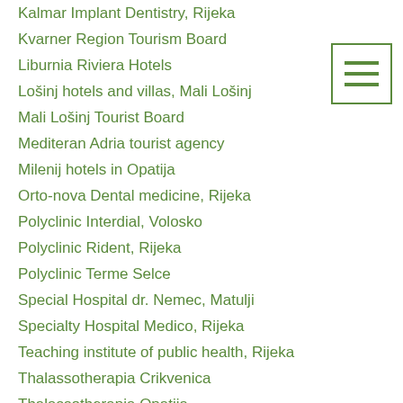Kalmar Implant Dentistry, Rijeka
Kvarner Region Tourism Board
Liburnia Riviera Hotels
Lošinj hotels and villas, Mali Lošinj
Mali Lošinj Tourist Board
Mediteran Adria tourist agency
Milenij hotels in Opatija
Orto-nova Dental medicine, Rijeka
Polyclinic Interdial, Volosko
Polyclinic Rident, Rijeka
Polyclinic Terme Selce
Special Hospital dr. Nemec, Matulji
Specialty Hospital Medico, Rijeka
Teaching institute of public health, Rijeka
Thalassotherapia Crikvenica
Thalassotherapia Opatija
[Figure (other): Hamburger menu icon — three horizontal green lines inside a green border square]